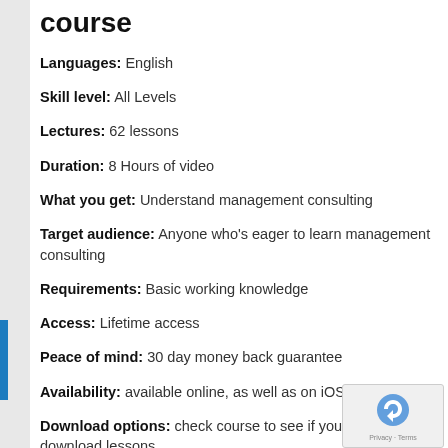course
Languages: English
Skill level: All Levels
Lectures: 62 lessons
Duration: 8 Hours of video
What you get: Understand management consulting
Target audience: Anyone who's eager to learn management consulting
Requirements: Basic working knowledge
Access: Lifetime access
Peace of mind: 30 day money back guarantee
Availability: available online, as well as on iOS and Android
Download options: check course to see if you can download lessons